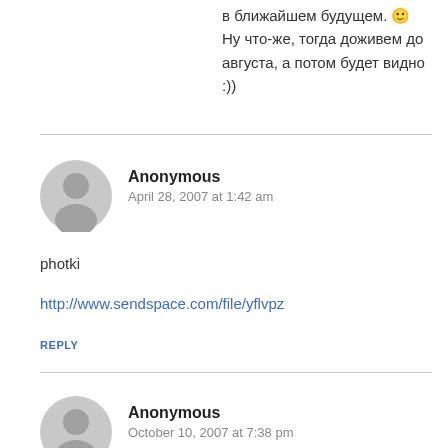в ближайшем будущем. 🙂
Ну что-же, тогда доживем до августа, а потом будет видно :))
Anonymous
April 28, 2007 at 1:42 am
photki
http://www.sendspace.com/file/yflvpz
REPLY
Anonymous
October 10, 2007 at 7:38 pm